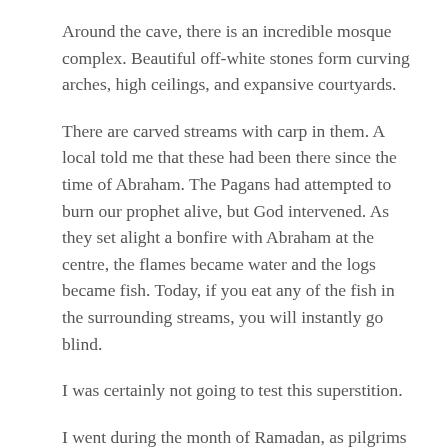Around the cave, there is an incredible mosque complex. Beautiful off-white stones form curving arches, high ceilings, and expansive courtyards.
There are carved streams with carp in them. A local told me that these had been there since the time of Abraham. The Pagans had attempted to burn our prophet alive, but God intervened. As they set alight a bonfire with Abraham at the centre, the flames became water and the logs became fish. Today, if you eat any of the fish in the surrounding streams, you will instantly go blind.
I was certainly not going to test this superstition.
I went during the month of Ramadan, as pilgrims wandered around the site. It remains one of the most blissfully spiritual places I have ever been. I went through the mosque and into the cave.